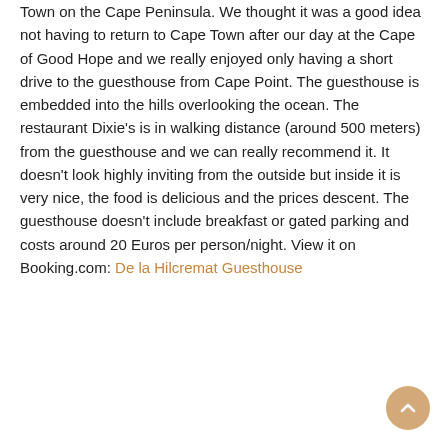Town on the Cape Peninsula. We thought it was a good idea not having to return to Cape Town after our day at the Cape of Good Hope and we really enjoyed only having a short drive to the guesthouse from Cape Point. The guesthouse is embedded into the hills overlooking the ocean. The restaurant Dixie's is in walking distance (around 500 meters) from the guesthouse and we can really recommend it. It doesn't look highly inviting from the outside but inside it is very nice, the food is delicious and the prices descent. The guesthouse doesn't include breakfast or gated parking and costs around 20 Euros per person/night. View it on Booking.com: De la Hilcremat Guesthouse